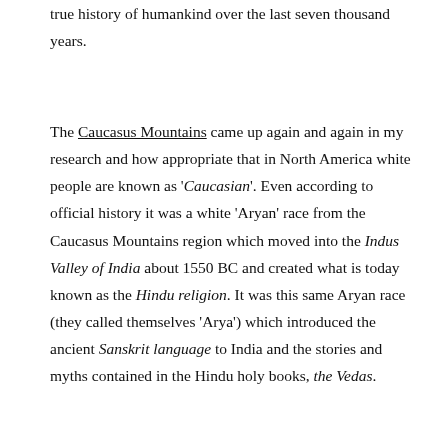true history of humankind over the last seven thousand years.
The Caucasus Mountains came up again and again in my research and how appropriate that in North America white people are known as 'Caucasian'. Even according to official history it was a white 'Aryan' race from the Caucasus Mountains region which moved into the Indus Valley of India about 1550 BC and created what is today known as the Hindu religion. It was this same Aryan race (they called themselves 'Arya') which introduced the ancient Sanskrit language to India and the stories and myths contained in the Hindu holy books, the Vedas.